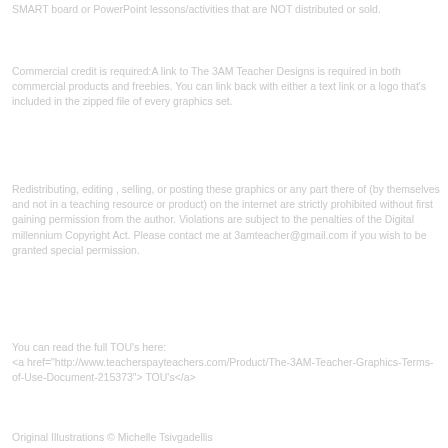SMART board or PowerPoint lessons/activities that are NOT distributed or sold.
Commercial credit is required:A link to The 3AM Teacher Designs is required in both commercial products and freebies. You can link back with either a text link or a logo that's included in the zipped file of every graphics set.
Redistributing, editing , selling, or posting these graphics or any part there of (by themselves and not in a teaching resource or product) on the internet are strictly prohibited without first gaining permission from the author.  Violations are subject to the penalties of the Digital millennium Copyright Act.  Please contact me at 3amteacher@gmail.com if you wish to be granted special permission.
You can read the full TOU's here:
<a href="http://www.teacherspayteachers.com/Product/The-3AM-Teacher-Graphics-Terms-of-Use-Document-215373"> TOU's</a>
Original Illustrations © Michelle Tsivgadellis